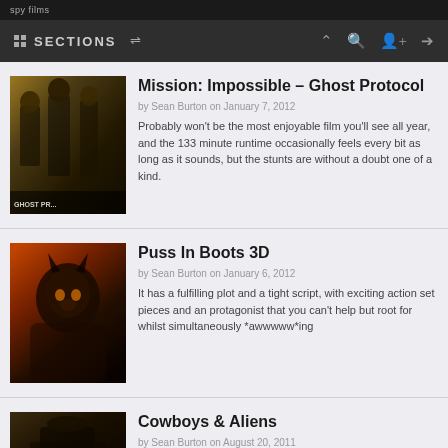spy films · SECTIONS
Mission: Impossible – Ghost Protocol
by Sean Burton on January 7, 2012
Probably won't be the most enjoyable film you'll see all year, and the 133 minute runtime occasionally feels every bit as long as it sounds, but the stunts are without a doubt one of a kind.
[Figure (photo): Movie poster for Mission: Impossible Ghost Protocol showing figures in dark coats]
Puss In Boots 3D
by Sean Burton on January 6, 2012
It has a fulfilling plot and a tight script, with exciting action set pieces and an protagonist that you can't help but root for whilst simultaneously *awwwww*ing
[Figure (photo): Animated movie still from Puss In Boots showing the cat character]
Cowboys & Aliens
by Sean Burton on August 20, 2011
[Figure (photo): Movie still from Cowboys & Aliens]